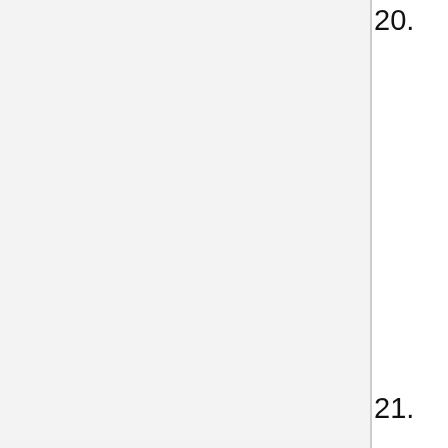20. Guo, Wei, Qiang Fan, Xian-zhi Zhang, Wen-Bo Liao, Long-Yuan Wang, Wei Wu and Daniel Potter 2020 Molecular reappraisal of relationships between Photinia, Stranvaesia and Heteromeles (Rosaceae, Maleae) Phytotaxa 🔒 447(2):103-115
21. Hara, Hiroshi 1935 Preliminary Report on the Flora of Southern